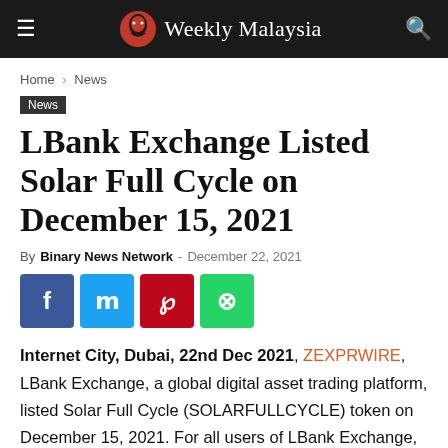Weekly Malaysia
Home › News
News
LBank Exchange Listed Solar Full Cycle on December 15, 2021
By Binary News Network - December 22, 2021
[Figure (other): Social share buttons: Facebook, Twitter, Pinterest, WhatsApp]
Internet City, Dubai, 22nd Dec 2021, ZEXPRWIRE, LBank Exchange, a global digital asset trading platform, listed Solar Full Cycle (SOLARFULLCYCLE) token on December 15, 2021. For all users of LBank Exchange, the SOLARFULLCYCLE/USDT trading pair was officially available